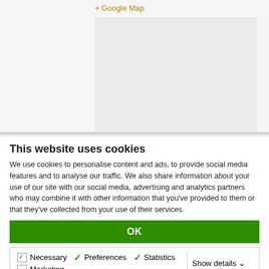[Figure (other): Google Map placeholder area (grey rectangle)]
+ Google Map
This website uses cookies
We use cookies to personalise content and ads, to provide social media features and to analyse our traffic. We also share information about your use of our site with our social media, advertising and analytics partners who may combine it with other information that you've provided to them or that they've collected from your use of their services.
OK
Necessary  Preferences  Statistics  Marketing  Show details